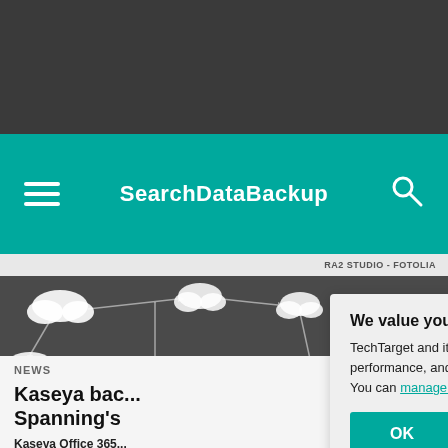SearchDataBackup
RA2 STUDIO - FOTOLIA
[Figure (photo): Dark background with illustrated clouds connected by arrows forming a network diagram]
NEWS
Kaseya bac... Spanning's
Kaseya Office 365... vendor's remote m... Spanning's cloud
We value your privacy.
TechTarget and its partners employ cookies to improve your experience on our site, to analyze traffic and performance, and to serve personalized content and advertising that are relevant to your professional interests. You can manage your settings at any time. Please view our Privacy Policy for more information